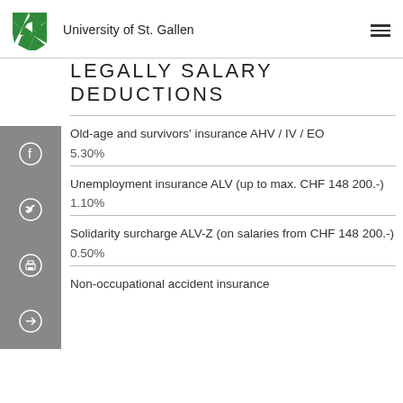University of St.Gallen
LEGALLY SALARY DEDUCTIONS
Old-age and survivors' insurance AHV / IV / EO
5.30%
Unemployment insurance ALV (up to max. CHF 148 200.-)
1.10%
Solidarity surcharge ALV-Z (on salaries from CHF 148 200.-)
0.50%
Non-occupational accident insurance